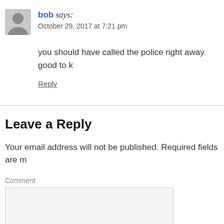[Figure (illustration): Gray avatar/user icon placeholder image]
bob says:
October 29, 2017 at 7:21 pm
you should have called the police right away. good to k
Reply
Leave a Reply
Your email address will not be published. Required fields are m
Comment